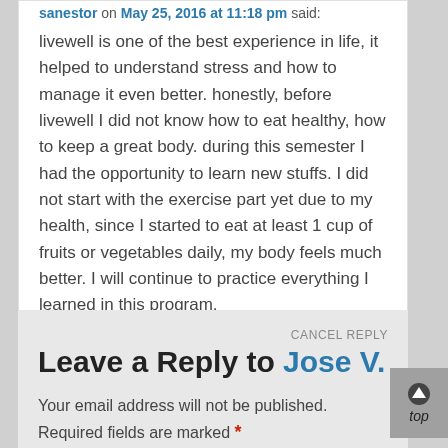sanestor on May 25, 2016 at 11:18 pm said:
livewell is one of the best experience in life, it helped to understand stress and how to manage it even better. honestly, before livewell I did not know how to eat healthy, how to keep a great body. during this semester I had the opportunity to learn new stuffs. I did not start with the exercise part yet due to my health, since I started to eat at least 1 cup of fruits or vegetables daily, my body feels much better. I will continue to practice everything I learned in this program.
Reply ↓
CANCEL REPLY
Leave a Reply to Jose V.
Your email address will not be published. Required fields are marked *